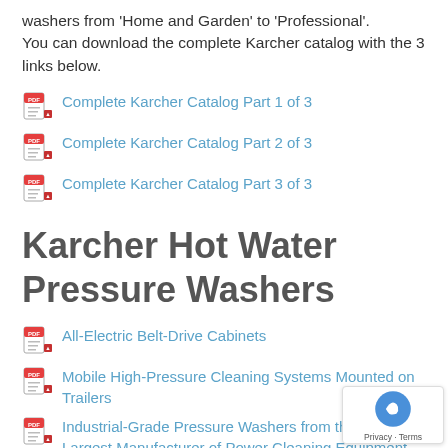washers from 'Home and Garden' to 'Professional'. You can download the complete Karcher catalog with the 3 links below.
Complete Karcher Catalog Part 1 of 3
Complete Karcher Catalog Part 2 of 3
Complete Karcher Catalog Part 3 of 3
Karcher Hot Water Pressure Washers
All-Electric Belt-Drive Cabinets
Mobile High-Pressure Cleaning Systems Mounted on Trailers
Industrial-Grade Pressure Washers from the World's Largest Manufacturer of Power Cleaning Equipment